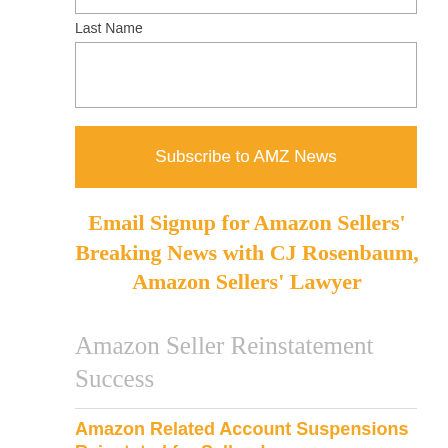[Figure (screenshot): Empty text input box for a form field (top of page, partially visible)]
Last Name
[Figure (screenshot): Empty text input box labeled Last Name]
Subscribe to AMZ News
Email Signup for Amazon Sellers' Breaking News with CJ Rosenbaum, Amazon Sellers' Lawyer
Amazon Seller Reinstatement Success
Amazon Related Account Suspensions Reinstated for Sellers!